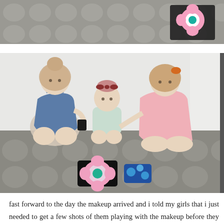[Figure (photo): Partial photo at top showing a tufted grey couch with a pink and black floral patterned item visible on it]
[Figure (photo): Three young girls sitting on a tufted grey couch. The girl on the left wears a denim romper and holds a dark object. The baby in the middle wears a mint outfit with a bow headband. The girl on the right wears a pink dotted dress and holds items. A pink floral makeup bag and a blue floral makeup bag are on the couch in front of them.]
fast forward to the day the makeup arrived and i told my girls that i just needed to get a few shots of them playing with the makeup before they lost all the pieces.